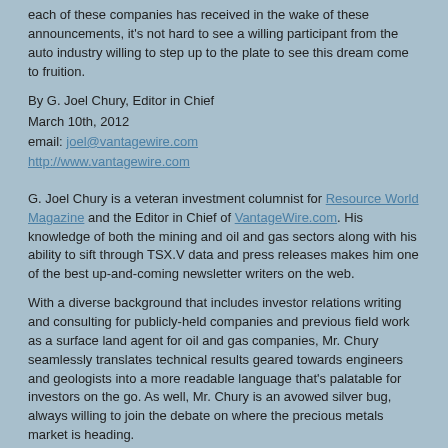each of these companies has received in the wake of these announcements, it's not hard to see a willing participant from the auto industry willing to step up to the plate to see this dream come to fruition.
By G. Joel Chury, Editor in Chief
March 10th, 2012
email: joel@vantagewire.com
http://www.vantagewire.com
G. Joel Chury is a veteran investment columnist for Resource World Magazine and the Editor in Chief of VantageWire.com. His knowledge of both the mining and oil and gas sectors along with his ability to sift through TSX.V data and press releases makes him one of the best up-and-coming newsletter writers on the web.
With a diverse background that includes investor relations writing and consulting for publicly-held companies and previous field work as a surface land agent for oil and gas companies, Mr. Chury seamlessly translates technical results geared towards engineers and geologists into a more readable language that's palatable for investors on the go. As well, Mr. Chury is an avowed silver bug, always willing to join the debate on where the precious metals market is heading.
Disclaimer: No information in this article should be construed as individualized investment advice. A licensed financial advisor should be consulted prior to making any investment decision. VantageWire makes no guarantee, representation or warranty and accepts no responsibility or liability as to its accuracy or completeness. Expressions of opinion are those of the VantageWire only and are subject to change without notice. VantageWire assumes no warranty, liability or guarantee for the current relevance, correctness or completeness of any information provided within this article and will not be held liable for the consequence of reliance upon any opinion or statement contained herein or any omission. The author of this article does not currently own shares of any of the